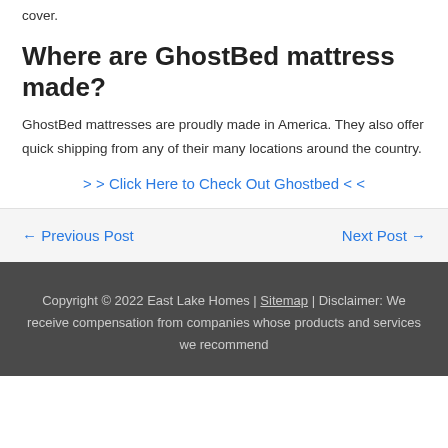cover.
Where are GhostBed mattress made?
GhostBed mattresses are proudly made in America. They also offer quick shipping from any of their many locations around the country.
> > Click Here to Check Out Ghostbed < <
← Previous Post
Next Post →
Copyright © 2022 East Lake Homes | Sitemap | Disclaimer: We receive compensation from companies whose products and services we recommend